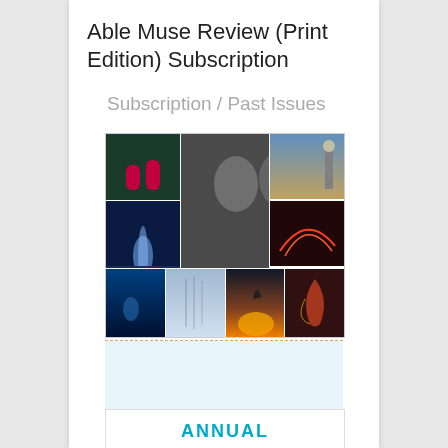Able Muse Review (Print Edition) Subscription
Subscription / Past Issues
[Figure (photo): Grid of Able Muse Review magazine covers showing multiple issues with a central 'Print Edition SUBSCRIBE' overlay and 'ableMUSE' text, plus four smaller covers in the bottom row.]
ANNUAL